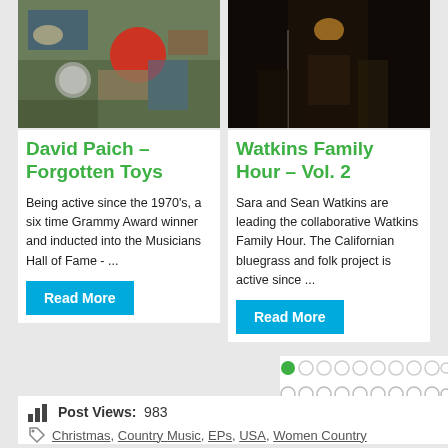[Figure (photo): Photo of toys and clutter on a surface - album art for David Paich Forgotten Toys]
[Figure (photo): Dark photo of a musician performing on stage - album art for Watkins Family Hour Vol. 2]
David Paich – Forgotten Toys
Watkins Family Hour – Vol. 2
Being active since the 1970's, a six time Grammy Award winner and inducted into the Musicians Hall of Fame - ...
Sara and Sean Watkins are leading the collaborative Watkins Family Hour. The Californian bluegrass and folk project is active since ...
Read More
Read More
[Figure (other): Pagination dots — one green filled circle followed by many grey/outline circles in a grid pattern]
Post Views:  983
Christmas, Country Music, EPs, USA, Women Country